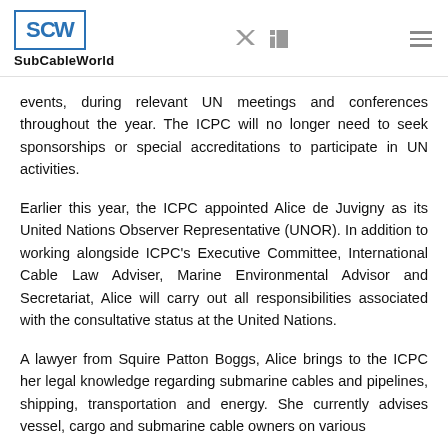SubCableWorld
events, during relevant UN meetings and conferences throughout the year. The ICPC will no longer need to seek sponsorships or special accreditations to participate in UN activities.
Earlier this year, the ICPC appointed Alice de Juvigny as its United Nations Observer Representative (UNOR). In addition to working alongside ICPC's Executive Committee, International Cable Law Adviser, Marine Environmental Advisor and Secretariat, Alice will carry out all responsibilities associated with the consultative status at the United Nations.
A lawyer from Squire Patton Boggs, Alice brings to the ICPC her legal knowledge regarding submarine cables and pipelines, shipping, transportation and energy. She currently advises vessel, cargo and submarine cable owners on various